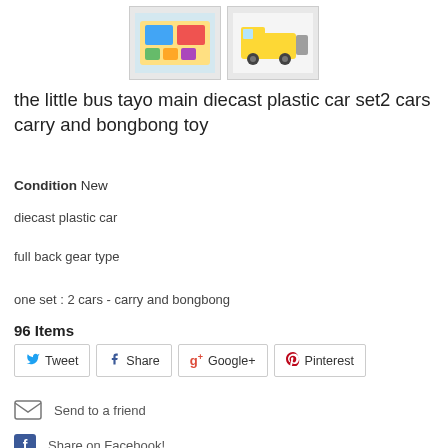[Figure (photo): Two thumbnail images of toy car sets - first shows a box set of little bus Tayo cars, second shows a yellow garbage truck toy]
the little bus tayo main diecast plastic car set2 cars carry and bongbong toy
Condition New
diecast plastic car
full back gear type
one set : 2 cars - carry and bongbong
96 Items
Tweet  Share  Google+  Pinterest
Send to a friend
Share on Facebook!